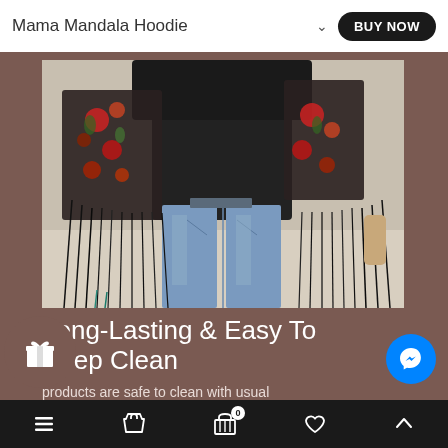Mama Mandala Hoodie
[Figure (photo): A person wearing a black top with a colorful floral kimono/hoodie featuring long black fringe hanging from the sides, paired with light blue jeans. The photo is cropped from the torso down.]
Long-Lasting & Easy To Keep Clean
products are safe to clean with usual
Navigation bar with hamburger menu, shopping cart, bag with 0, heart, and up arrow icons